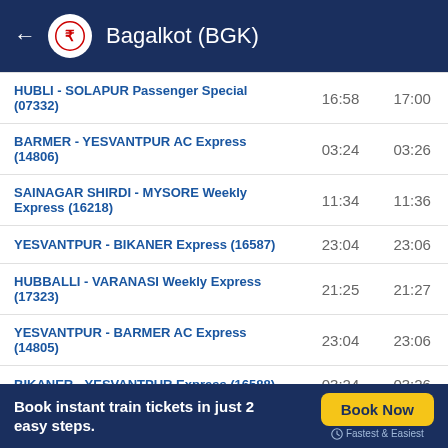Bagalkot (BGK)
| Train Name | Arrival | Departure |
| --- | --- | --- |
| HUBLI - SOLAPUR Passenger Special (07332) | 16:58 | 17:00 |
| BARMER - YESVANTPUR AC Express (14806) | 03:24 | 03:26 |
| SAINAGAR SHIRDI - MYSORE Weekly Express (16218) | 11:34 | 11:36 |
| YESVANTPUR - BIKANER Express (16587) | 23:04 | 23:06 |
| HUBBALLI - VARANASI Weekly Express (17323) | 21:25 | 21:27 |
| YESVANTPUR - BARMER AC Express (14805) | 23:04 | 23:06 |
| BIKANER - YESVANTPUR Express (16588) | 03:24 | 03:26 |
| VARANASI - HUBALI Weekly Express (17324) | 07:23 | 07:25 |
View more
Book instant train tickets in just 2 easy steps.